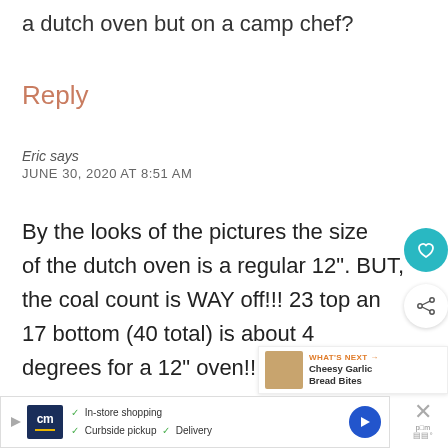a dutch oven but on a camp chef?
Reply
Eric says
JUNE 30, 2020 AT 8:51 AM
By the looks of the pictures the size of the dutch oven is a regular 12". BUT, the coal count is WAY off!!! 23 top and 17 bottom (40 total) is about 4 degrees for a 12" oven!! I'm surprised
[Figure (screenshot): UI overlay with heart/like button (teal circle with heart icon) and share button (white circle with share icon)]
[Figure (screenshot): What's Next panel showing thumbnail image and text 'Cheesy Garlic Bread Bites']
[Figure (screenshot): Advertisement bar at bottom with Camp Chef logo, checkmarks for In-store shopping, Curbside pickup, Delivery, a blue arrow button, and a close X button]